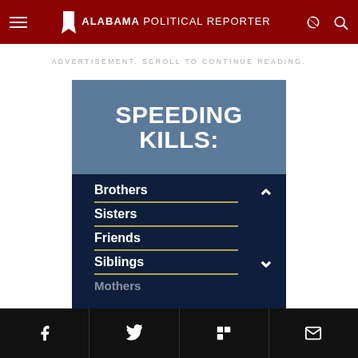Alabama Political Reporter
ADVERTISEMENT. SCROLL TO CONTINUE READING.
[Figure (infographic): Speeding Kills infographic by DriveSafe Alabama showing list: Brothers, Sisters, Friends, Siblings, Mothers with up/down scroll arrows]
Social share buttons: Facebook, Twitter, Flipboard, Email